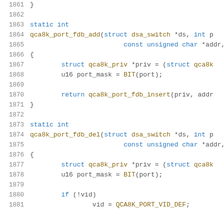[Figure (screenshot): Source code listing showing C functions qca8k_port_fdb_add and qca8k_port_fdb_del with line numbers 1861-1881]